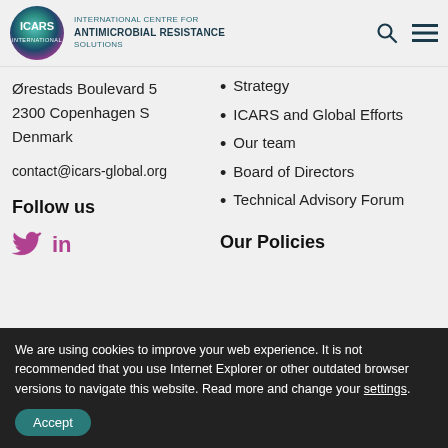INTERNATIONAL CENTRE FOR ANTIMICROBIAL RESISTANCE SOLUTIONS
Ørestads Boulevard 5
2300 Copenhagen S
Denmark
contact@icars-global.org
Follow us
[Figure (illustration): Twitter and LinkedIn social media icons]
Strategy
ICARS and Global Efforts
Our team
Board of Directors
Technical Advisory Forum
Our Policies
We are using cookies to improve your web experience. It is not recommended that you use Internet Explorer or other outdated browser versions to navigate this website. Read more and change your settings.